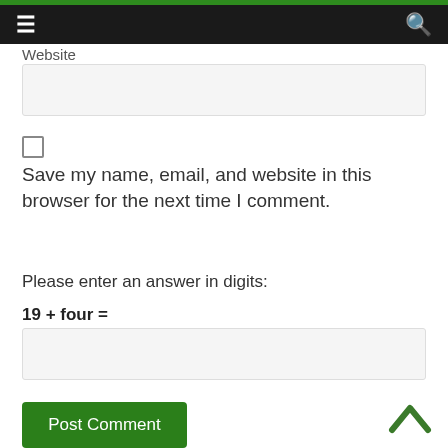Website
Save my name, email, and website in this browser for the next time I comment.
Please enter an answer in digits:
19 + four =
Post Comment